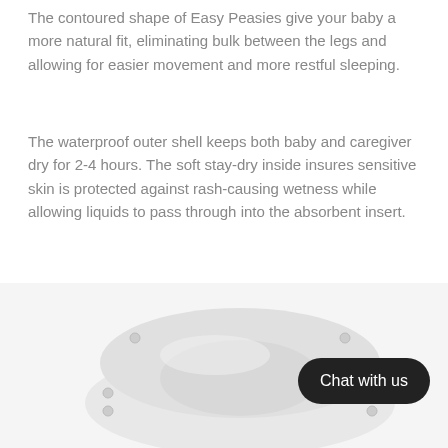The contoured shape of Easy Peasies give your baby a more natural fit, eliminating bulk between the legs and allowing for easier movement and more restful sleeping.
The waterproof outer shell keeps both baby and caregiver dry for 2-4 hours. The soft stay-dry inside insures sensitive skin is protected against rash-causing wetness while allowing liquids to pass through into the absorbent insert.
Conveniently located, back pocket opening allows for easy insertion of absorbency. Inserts agitate out during wash cycles of most washing machines on their own.
[Figure (photo): A white cloth diaper / Easy Peasies product shown from above against a light background, with a dark 'Chat with us' button overlay in the bottom right.]